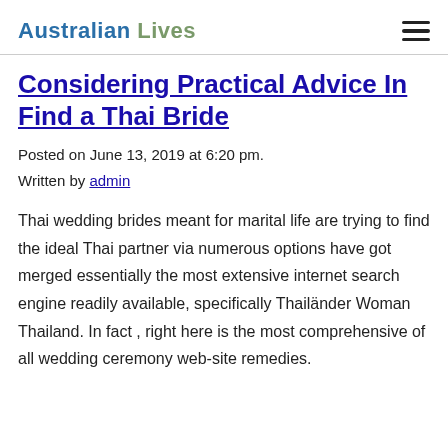Australian Lives
Considering Practical Advice In Find a Thai Bride
Posted on June 13, 2019 at 6:20 pm.
Written by admin
Thai wedding brides meant for marital life are trying to find the ideal Thai partner via numerous options have got merged essentially the most extensive internet search engine readily available, specifically Thailänder Woman Thailand. In fact , right here is the most comprehensive of all wedding ceremony web-site remedies.